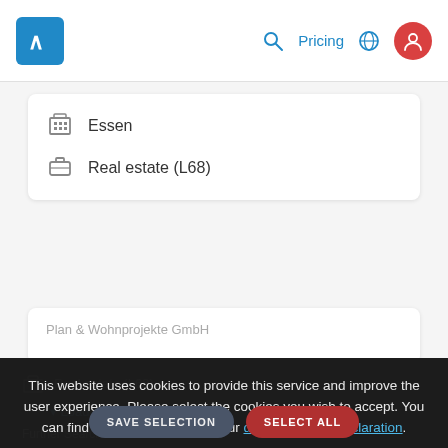Pricing (navigation header with logo, search, globe, user icons)
Essen
Real estate (L68)
This website uses cookies to provide this service and improve the user experience. Please select the cookies you wish to accept. You can find further information in our data protection declaration.
Essential
User statistics
Further Searches
Third Party Tracking
Search for "Charlottenplatz 6" in "70173 Stuttgart"
Find companies with zip code 7017...